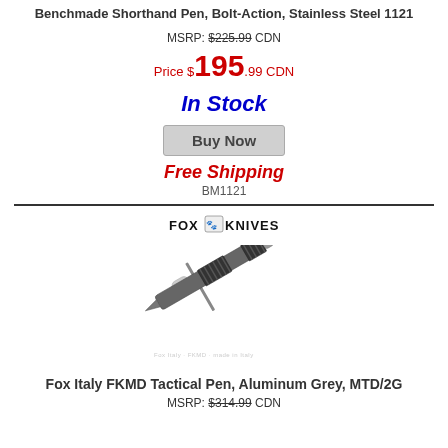Benchmade Shorthand Pen, Bolt-Action, Stainless Steel 1121
MSRP: $225.99 CDN
Price $195.99 CDN
In Stock
Buy Now
Free Shipping
BM1121
[Figure (logo): Fox Knives brand logo text]
[Figure (photo): Fox Italy FKMD Tactical Pen, Aluminum Grey, MTD/2G - product photo of a dark grey pen with ridged grip sections]
Fox Italy FKMD Tactical Pen, Aluminum Grey, MTD/2G
MSRP: $314.99 CDN